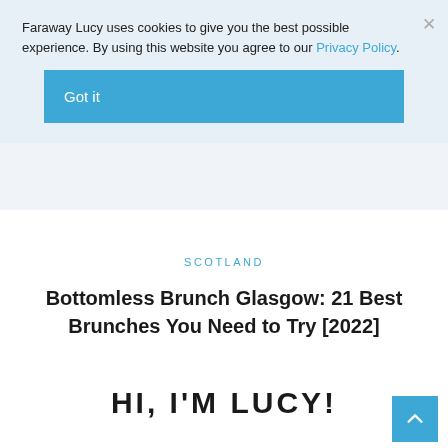Faraway Lucy uses cookies to give you the best possible experience. By using this website you agree to our Privacy Policy.
Got it
SCOTLAND
Bottomless Brunch Glasgow: 21 Best Brunches You Need to Try [2022]
HI, I'M LUCY!